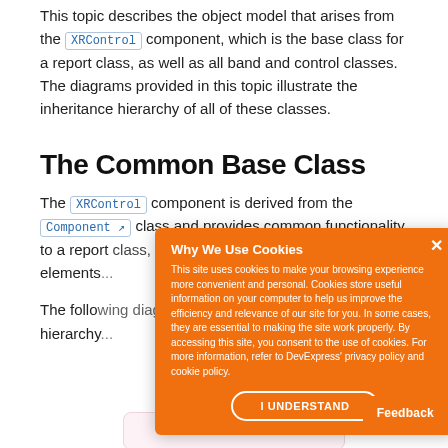This topic describes the object model that arises from the XRControl component, which is the base class for a report class, as well as all band and control classes. The diagrams provided in this topic illustrate the inheritance hierarchy of all of these classes.
The Common Base Class
The XRControl component is derived from the Component↗ class and provides common functionality to a report class, and all elements in a report.
The following diagram illustrates the XRControl class hierarchy.
[Figure (other): Cookie consent popup overlay on orange background with title 'Why We Use Cookies', body text explaining cookie usage, and 'I UNDERSTAND' button]
[Figure (flowchart): Inheritance diagram showing System.Object box at top with arrow pointing down to another box below (partially visible)]
Feedback